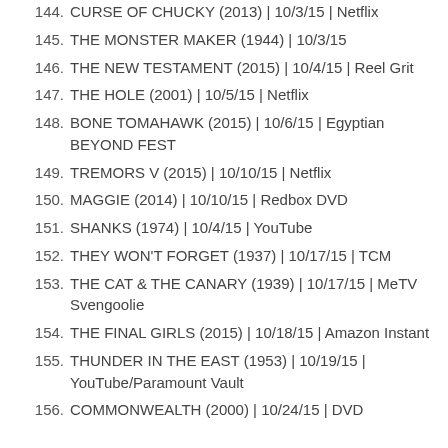144. CURSE OF CHUCKY (2013) | 10/3/15 | Netflix
145. THE MONSTER MAKER (1944) | 10/3/15
146. THE NEW TESTAMENT (2015) | 10/4/15 | Reel Grit
147. THE HOLE (2001) | 10/5/15 | Netflix
148. BONE TOMAHAWK (2015) | 10/6/15 | Egyptian BEYOND FEST
149. TREMORS V (2015) | 10/10/15 | Netflix
150. MAGGIE (2014) | 10/10/15 | Redbox DVD
151. SHANKS (1974) | 10/4/15 | YouTube
152. THEY WON'T FORGET (1937) | 10/17/15 | TCM
153. THE CAT & THE CANARY (1939) | 10/17/15 | MeTV Svengoolie
154. THE FINAL GIRLS (2015) | 10/18/15 | Amazon Instant
155. THUNDER IN THE EAST (1953) | 10/19/15 | YouTube/Paramount Vault
156. COMMONWEALTH (2000) | 10/24/15 | DVD